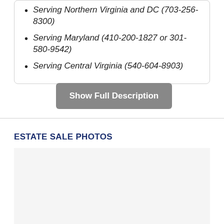Serving Northern Virginia and DC (703-256-8300)
Serving Maryland (410-200-1827 or 301-580-9542)
Serving Central Virginia (540-604-8903)
Show Full Description
ESTATE SALE PHOTOS